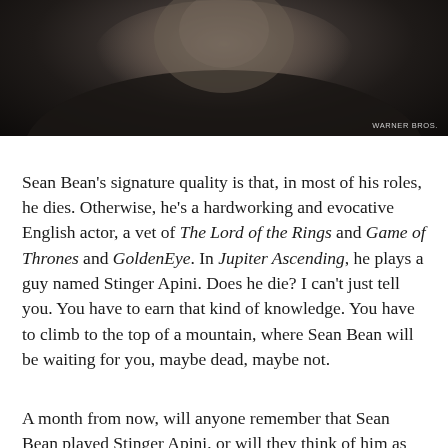[Figure (photo): Dark, moodily lit close-up photograph of Sean Bean looking at the camera. The image is predominantly dark with the subject's face partially lit. A photo credit reading 'WARNER BROS.' appears in the lower right corner.]
Sean Bean's signature quality is that, in most of his roles, he dies. Otherwise, he's a hardworking and evocative English actor, a vet of The Lord of the Rings and Game of Thrones and GoldenEye. In Jupiter Ascending, he plays a guy named Stinger Apini. Does he die? I can't just tell you. You have to earn that kind of knowledge. You have to climb to the top of a mountain, where Sean Bean will be waiting for you, maybe dead, maybe not.
A month from now, will anyone remember that Sean Bean played Stinger Apini, or will they think of him as Boromir